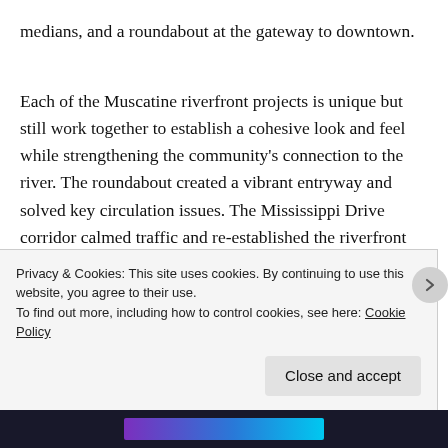medians, and a roundabout at the gateway to downtown.
Each of the Muscatine riverfront projects is unique but still work together to establish a cohesive look and feel while strengthening the community's connection to the river. The roundabout created a vibrant entryway and solved key circulation issues. The Mississippi Drive corridor calmed traffic and re-established the riverfront connection. The Grandview Avenue corridor project will solve much needed infrastructure and access management problems that have stalled business development. The 2nd Street Project will inspire the
Privacy & Cookies: This site uses cookies. By continuing to use this website, you agree to their use.
To find out more, including how to control cookies, see here: Cookie Policy
Close and accept